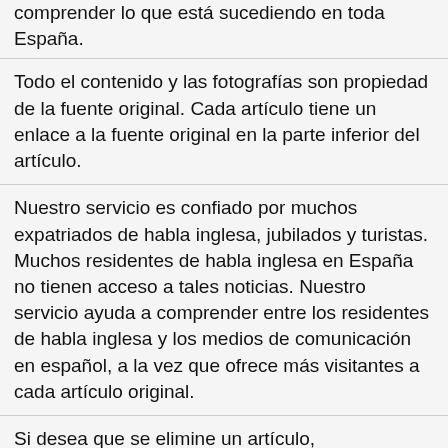comprender lo que está sucediendo en toda España.
Todo el contenido y las fotografías son propiedad de la fuente original. Cada artículo tiene un enlace a la fuente original en la parte inferior del artículo.
Nuestro servicio es confiado por muchos expatriados de habla inglesa, jubilados y turistas. Muchos residentes de habla inglesa en España no tienen acceso a tales noticias. Nuestro servicio ayuda a comprender entre los residentes de habla inglesa y los medios de comunicación en español, a la vez que ofrece más visitantes a cada artículo original.
Si desea que se elimine un artículo, puede contactarnos con la URL y la prueba de los derechos de propiedad para eliminar cualquier artículo de nuestro sistema.